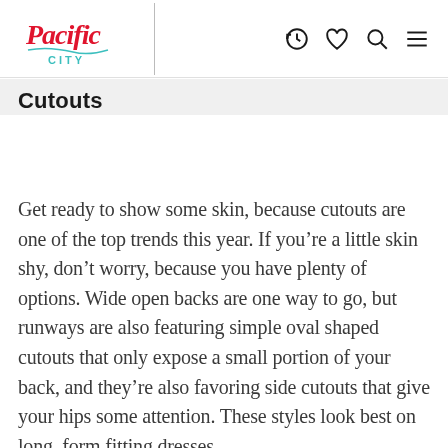Pacific City [logo with navigation icons]
Cutouts
Get ready to show some skin, because cutouts are one of the top trends this year. If you’re a little skin shy, don’t worry, because you have plenty of options. Wide open backs are one way to go, but runways are also featuring simple oval shaped cutouts that only expose a small portion of your back, and they’re also favoring side cutouts that give your hips some attention. These styles look best on long, form fitting dresses.